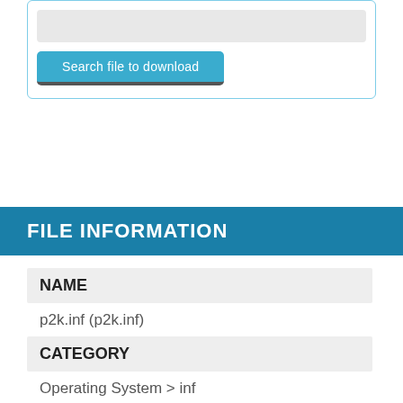[Figure (screenshot): Search input box with grey background and a teal 'Search file to download' button below it, inside a blue-bordered rounded box]
FILE INFORMATION
NAME
p2k.inf (p2k.inf)
CATEGORY
Operating System > inf
DESCRIPTION
; INF file for P2k.sys in Windows 2000, Windows Xp and Windows 98. Install Shield will